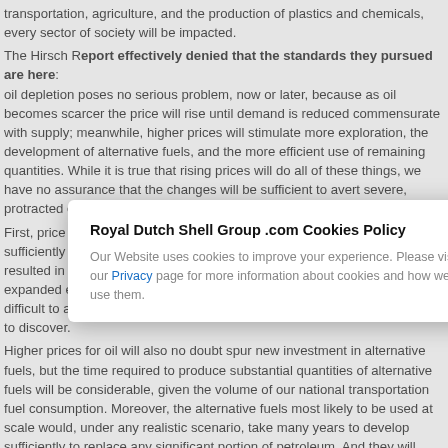transportation, agriculture, and the production of plastics and chemicals, every sector of society will be impacted.
The Hirsch Report effectively denied that the standards they pursued are: oil depletion poses no serious problem, now or later, because as oil becomes scarcer the price will rise until demand is reduced commensurate with supply; meanwhile, higher prices will stimulate more exploration, the development of alternative fuels, and the more efficient use of remaining quantities. While it is true that rising prices will do all of these things, we have no assurance that the changes will be sufficient to avert severe, protracted economic, social, and political disruptions.
First, price increases may or may not stimulate more exploration, or do so sufficiently or productively. During the early 20th century, more exploration resulted in more oil being discovered. However, in recent decades, expanded exploration efforts have turned up fewer and fewer finds. It is difficult to avoid the obvious conclusion that there simply isn't much oil left to discover.
Higher prices for oil will also no doubt spur new investment in alternative fuels, but the time required to produce substantial quantities of alternative fuels will be considerable, given the volume of our national transportation fuel consumption. Moreover, the alternative fuels most likely to be used at scale would, under any realistic scenario, take many years to develop sufficiently to replace any significant portion of petroleum. And they will face economic, political, physical, and environmental barriers that will constrain their development.
Higher prices for oil will also no doubt spur new investment in alternative fuels, but the time required… most pro…
Royal Dutch Shell Group .com Cookies Policy
Our Website uses cookies to improve your experience. Please visit our Privacy page for more information about cookies and how we use them.